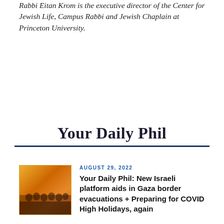Rabbi Eitan Krom is the executive director of the Center for Jewish Life, Campus Rabbi and Jewish Chaplain at Princeton University.
Your Daily Phil
[Figure (photo): Group photo of people wearing orange shirts outdoors, likely at a community or advocacy event]
AUGUST 29, 2022
Your Daily Phil: New Israeli platform aids in Gaza border evacuations + Preparing for COVID High Holidays, again